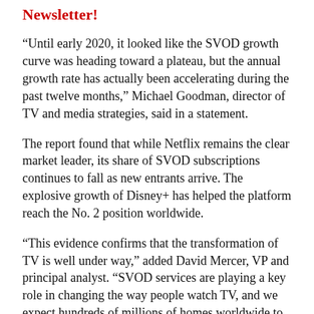Newsletter!
“Until early 2020, it looked like the SVOD growth curve was heading toward a plateau, but the annual growth rate has actually been accelerating during the past twelve months,” Michael Goodman, director of TV and media strategies, said in a statement.
The report found that while Netflix remains the clear market leader, its share of SVOD subscriptions continues to fall as new entrants arrive. The explosive growth of Disney+ has helped the platform reach the No. 2 position worldwide.
“This evidence confirms that the transformation of TV is well under way,” added David Mercer, VP and principal analyst. “SVOD services are playing a key role in changing the way people watch TV, and we expect hundreds of millions of homes worldwide to move away from traditional broadcast and pay-TV